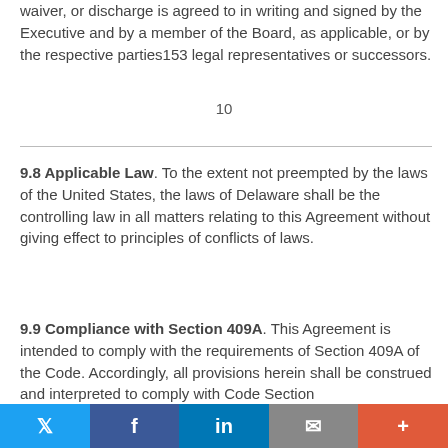waiver, or discharge is agreed to in writing and signed by the Executive and by a member of the Board, as applicable, or by the respective parties153 legal representatives or successors.
10
9.8 Applicable Law. To the extent not preempted by the laws of the United States, the laws of Delaware shall be the controlling law in all matters relating to this Agreement without giving effect to principles of conflicts of laws.
9.9 Compliance with Section 409A. This Agreement is intended to comply with the requirements of Section 409A of the Code. Accordingly, all provisions herein shall be construed and interpreted to comply with Code Section